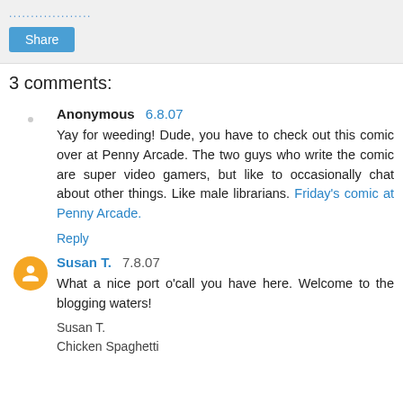................... (dotted link)
Share (button)
3 comments:
Anonymous 6.8.07
Yay for weeding! Dude, you have to check out this comic over at Penny Arcade. The two guys who write the comic are super video gamers, but like to occasionally chat about other things. Like male librarians. Friday's comic at Penny Arcade.
Reply
Susan T. 7.8.07
What a nice port o'call you have here. Welcome to the blogging waters!

Susan T.
Chicken Spaghetti